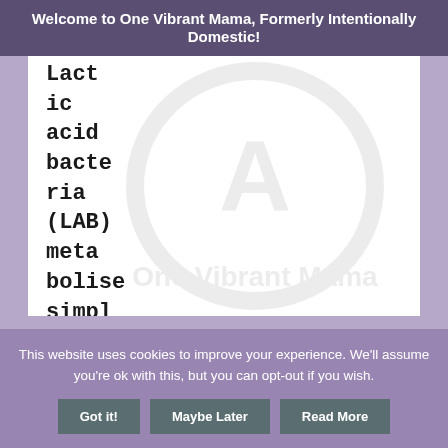Welcome to One Vibrant Mama, Formerly Intentionally Domestic!
Lactic acid bacteria (LAB) metabolise simple sugars rapidly, producing lactic acid which lowers pH and
This website uses cookies to improve your experience. We'll assume you're ok with this, but you can opt-out if you wish.
Got it!  Maybe Later  Read More